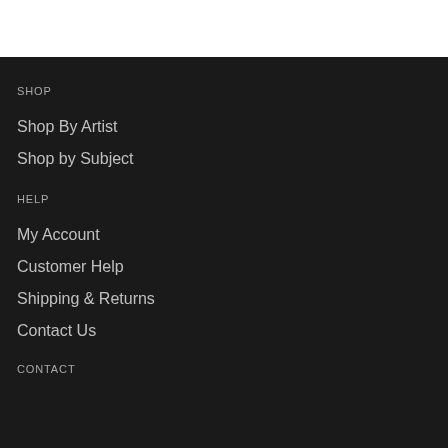SHOP
Shop By Artist
Shop by Subject
HELP
My Account
Customer Help
Shipping & Returns
Contact Us
CONTACT